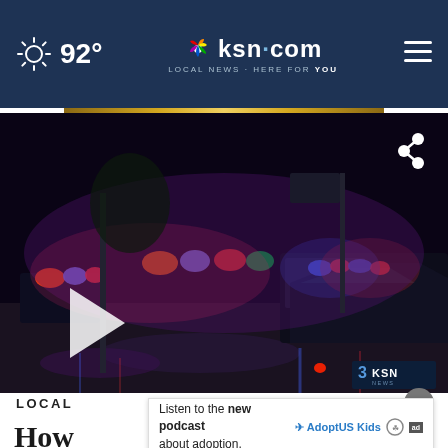92° | ksn.com LOCAL NEWS · HERE FOR YOU
[Figure (screenshot): Night scene with police car with flashing lights, KSN news video thumbnail with play button and share icon]
LOCAL
How Wichita's next police chief
Listen to the new podcast about adoption. Adopt US Kids